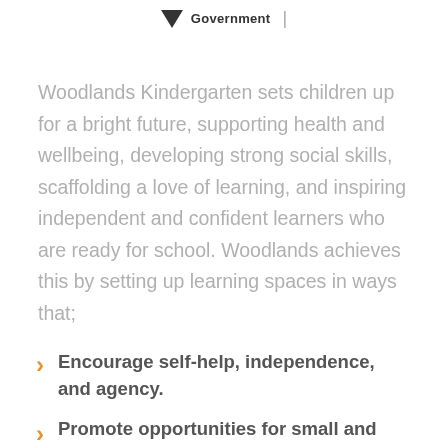Government |
Woodlands Kindergarten sets children up for a bright future, supporting health and wellbeing, developing strong social skills, scaffolding a love of learning, and inspiring independent and confident learners who are ready for school. Woodlands achieves this by setting up learning spaces in ways that;
Encourage self-help, independence, and agency.
Promote opportunities for small and large